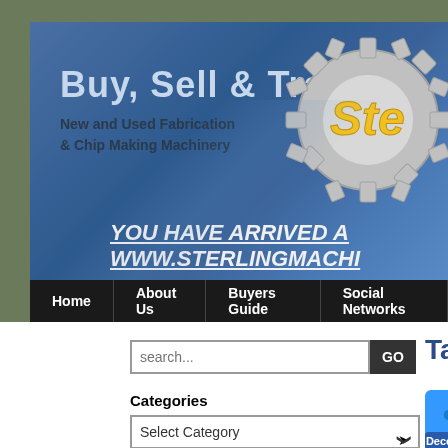[Figure (screenshot): Sterling Machinery website header banner with blue gradient background, 'Buy, Sell & Trade' heading, subtitle 'New and Used Fabrication & Chip Making Machinery', gear logo partially visible on right, and 'YOU HAVE ARRIVED AT WWW.STERLINGMACHI...' text in italic bold white underlined]
Home | About Us | Buyers Guide | Social Networks
search...
Categories
Select Category
Brands
Select Brand
Taper Attach...
My Page
December 8
Used Engin...